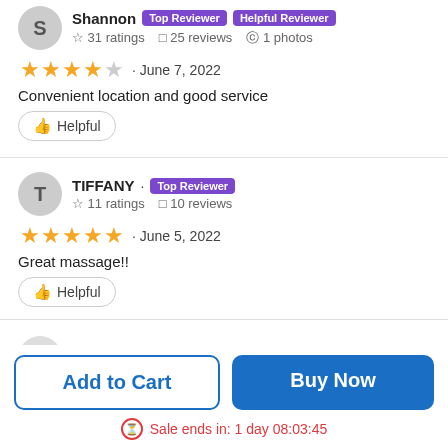Shannon · Top Reviewer · Helpful Reviewer · ☆ 31 ratings · 25 reviews · 1 photos
★★★★☆ · June 7, 2022
Convenient location and good service
Helpful
TIFFANY · Top Reviewer · ☆ 11 ratings · 10 reviews
★★★★★ · June 5, 2022
Great massage!!
Helpful
Carey
Add to Cart
Buy Now
Sale ends in: 1 day 08:03:45